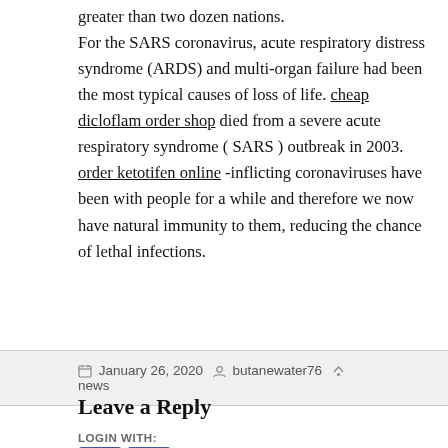greater than two dozen nations. For the SARS coronavirus, acute respiratory distress syndrome (ARDS) and multi-organ failure had been the most typical causes of loss of life. cheap dicloflam order shop died from a severe acute respiratory syndrome ( SARS ) outbreak in 2003. order ketotifen online -inflicting coronaviruses have been with people for a while and therefore we now have natural immunity to them, reducing the chance of lethal infections.
January 26, 2020   butanewater76   news
Leave a Reply
LOGIN WITH: